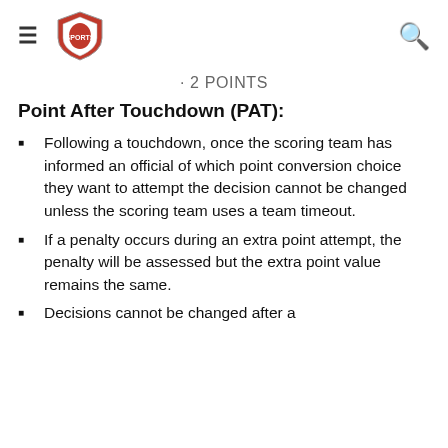· 2 POINTS
Point After Touchdown (PAT):
Following a touchdown, once the scoring team has informed an official of which point conversion choice they want to attempt the decision cannot be changed unless the scoring team uses a team timeout.
If a penalty occurs during an extra point attempt, the penalty will be assessed but the extra point value remains the same.
Decisions cannot be changed after a